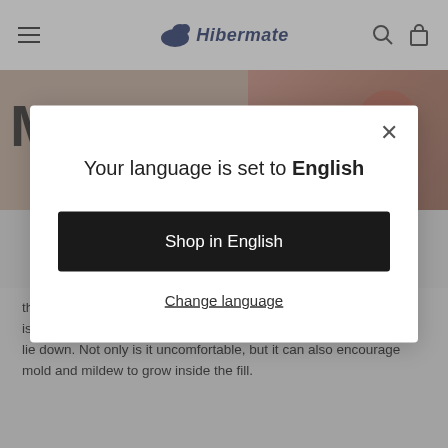Hibermate
[Figure (screenshot): Partial background image showing a person with text 'Memory' visible]
they have more than enough time to dry. The last thing you'd want is to go to bed and have a wet pillow beneath your face when you lie down. Not only is it uncomfortable, but it can also encourage mold and mildew to grow inside the fill.
Your language is set to English
Shop in English
Change language